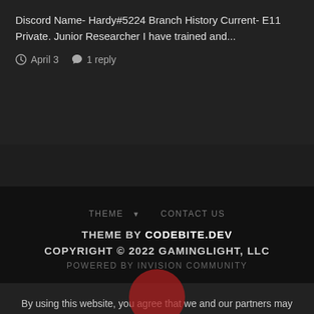Discord Name- Hardy#5224 Branch History Current- E11 Private. Junior Researcher I have trained and...
April 3   1 reply
THEME ▼   CONTACT US
THEME BY CODEBITE.DEV
COPYRIGHT © 2022 GAMINGLIGHT, LLC
POWERED BY INVISION COMMUNITY
By using this website, you agree that we and our partners may set cookies for purposes such as customizing content and advertising.  I Understand